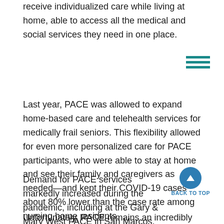receive individualized care while living at home, able to access all the medical and social services they need in one place.
Last year, PACE was allowed to expand home-based care and telehealth services for medically frail seniors. This flexibility allowed for even more personalized care for PACE participants, who were able to stay at home and see their family and caregivers as needed—and kept their COVID-19 cases about 80% lower than the case rate among nursing home residents.
Demand for PACE services markedly increased during the pandemic, including at the Gary & Mary West PACE in San Marcos, which currently serves several hundred participants in North San Diego County.
Unfortunately, PACE remains an incredibly underutilized